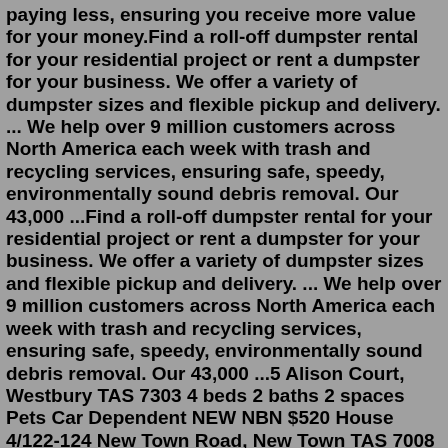paying less, ensuring you receive more value for your money.Find a roll-off dumpster rental for your residential project or rent a dumpster for your business. We offer a variety of dumpster sizes and flexible pickup and delivery. ... We help over 9 million customers across North America each week with trash and recycling services, ensuring safe, speedy, environmentally sound debris removal. Our 43,000 ...Find a roll-off dumpster rental for your residential project or rent a dumpster for your business. We offer a variety of dumpster sizes and flexible pickup and delivery. ... We help over 9 million customers across North America each week with trash and recycling services, ensuring safe, speedy, environmentally sound debris removal. Our 43,000 ...5 Alison Court, Westbury TAS 7303 4 beds 2 baths 2 spaces Pets Car Dependent NEW NBN $520 House 4/122-124 New Town Road, New Town TAS 7008 2 beds 1 bath 1 space Very Walkable NEW NBN $550 House 46A Mannata Street, Lauderdale TAS 7021 2 beds 1 bath 0 spaces Car Dependent NEW NBN $750 House 46